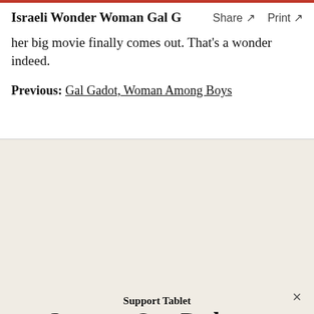Israeli Wonder Woman Gal G   Share ↗   Print ↗
her big movie finally comes out. That's a wonder indeed.
Previous: Gal Gadot, Woman Among Boys
Support Our Podcasts
Rachel Shukert is the author of the memoirs Heil Myself and the novel Starstruck. She was a staff writer on Netflix's The Baby-Sitters Club, and a writer on such series as GLOW and Supergirl. Her Twitter feed is @rachelshukert.
In addition to Unorthodox, the world's No. 1 Jewish podcast, and Take One, our daily Talmud meditation, we're hard at work on exciting new Jewish audio series.
Support Tablet